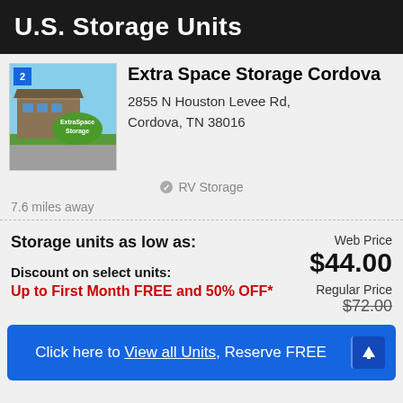U.S. Storage Units
Extra Space Storage Cordova
2855 N Houston Levee Rd, Cordova, TN  38016
RV Storage
7.6 miles away
Storage units as low as:
Web Price $44.00
Discount on select units:
Up to First Month FREE and 50% OFF*
Regular Price $72.00
Click here to View all Units, Reserve FREE